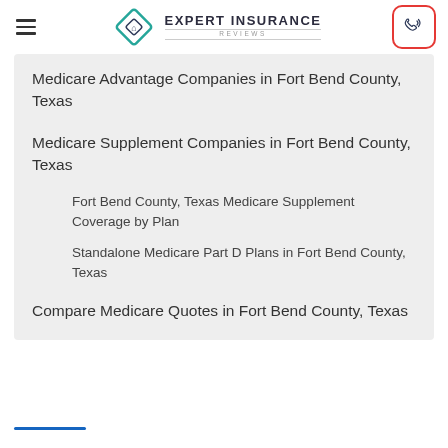Expert Insurance Reviews
Medicare Advantage Companies in Fort Bend County, Texas
Medicare Supplement Companies in Fort Bend County, Texas
Fort Bend County, Texas Medicare Supplement Coverage by Plan
Standalone Medicare Part D Plans in Fort Bend County, Texas
Compare Medicare Quotes in Fort Bend County, Texas